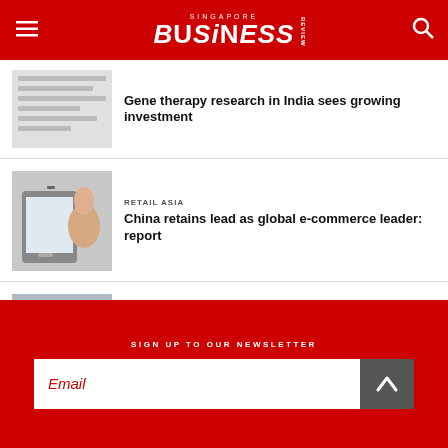Singapore Business Review
Gene therapy research in India sees growing investment
RETAIL ASIA
China retains lead as global e-commerce leader: report
REALESTATE ASIA
Is a property downturn on the horizon in Singapore?
SIGN UP TO OUR NEWSLETTER
Email